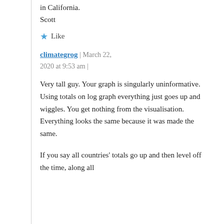in California.
Scott
Like
climategrog | March 22, 2020 at 9:53 am |
Very tall guy. Your graph is singularly uninformative. Using totals on log graph everything just goes up and wiggles. You get nothing from the visualisation. Everything looks the same because it was made the same.
If you say all countries' totals go up and then level off the time, along all...